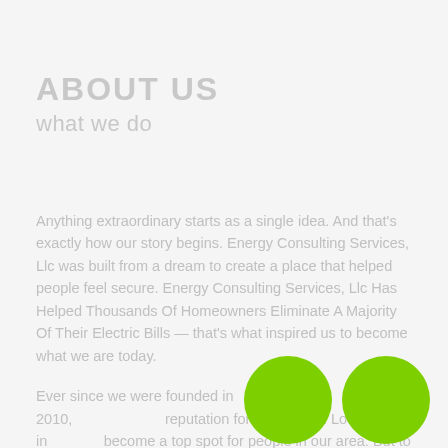ABOUT US
what we do
Anything extraordinary starts as a single idea. And that's exactly how our story begins. Energy Consulting Services, Llc was built from a dream to create a place that helped people feel secure. Energy Consulting Services, Llc Has Helped Thousands Of Homeowners Eliminate A Majority Of Their Electric Bills — that's what inspired us to become what we are today.
Ever since we were founded in 2010, we've built a reputation for excellence. Located in [area], we've become a top spot for people in our area. But today...
[Figure (illustration): Two bright green circles (decorative dots) in the bottom-right corner of the page.]